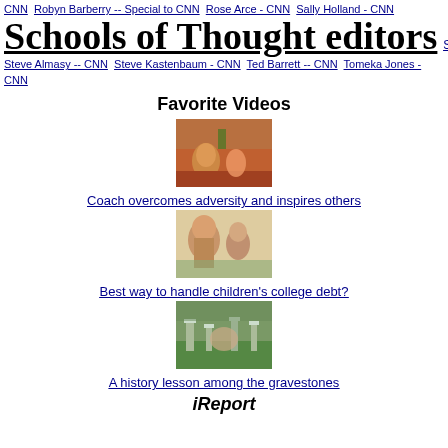CNN  Robyn Barberry -- Special to CNN  Rose Arce - CNN  Sally Holland - CNN
Schools of Thought editors  Staff -- CNN Wire
Steve Almasy -- CNN  Steve Kastenbaum - CNN  Ted Barrett -- CNN  Tomeka Jones - CNN
Favorite Videos
[Figure (photo): Video thumbnail showing athletes on a red track]
Coach overcomes adversity and inspires others
[Figure (photo): Video thumbnail showing a woman being interviewed outdoors]
Best way to handle children's college debt?
[Figure (photo): Video thumbnail showing people among gravestones]
A history lesson among the gravestones
iReport